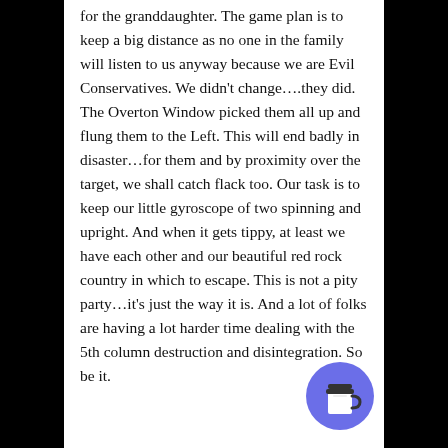for the granddaughter. The game plan is to keep a big distance as no one in the family will listen to us anyway because we are Evil Conservatives. We didn't change….they did. The Overton Window picked them all up and flung them to the Left. This will end badly in disaster…for them and by proximity over the target, we shall catch flack too. Our task is to keep our little gyroscope of two spinning and upright. And when it gets tippy, at least we have each other and our beautiful red rock country in which to escape. This is not a pity party…it's just the way it is. And a lot of folks are having a lot harder time dealing with the 5th column destruction and disintegration. So be it.
[Figure (illustration): Blue circular button with a coffee cup icon (Buy Me a Coffee widget)]